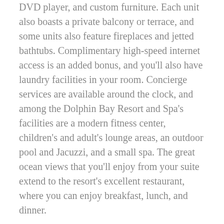DVD player, and custom furniture. Each unit also boasts a private balcony or terrace, and some units also feature fireplaces and jetted bathtubs. Complimentary high-speed internet access is an added bonus, and you'll also have laundry facilities in your room. Concierge services are available around the clock, and among the Dolphin Bay Resort and Spa's facilities are a modern fitness center, children's and adult's lounge areas, an outdoor pool and Jacuzzi, and a small spa. The great ocean views that you'll enjoy from your suite extend to the resort's excellent restaurant, where you can enjoy breakfast, lunch, and dinner.
Whether you are enjoying an extended stay in Shell Beach, or are simply looking for a nice place to stop for a day or more while driving between Los Angeles and San Francisco, The Cliffs Resort is another one of the Shell Beach resorts that you might consider. Offering what it calls affordable luxury, The Cliffs Resort is an excellent Shell Beach lodging choice that you might want to consider for your next stay.